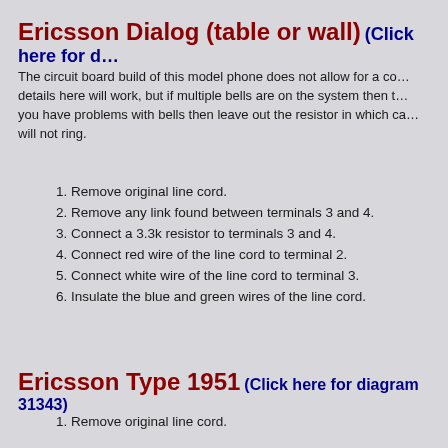Ericsson Dialog (table or wall) (Click here for d…)
The circuit board build of this model phone does not allow for a co… details here will work, but if multiple bells are on the system then t… you have problems with bells then leave out the resistor in which ca… will not ring.
1. Remove original line cord.
2. Remove any link found between terminals 3 and 4.
3. Connect a 3.3k resistor to terminals 3 and 4.
4. Connect red wire of the line cord to terminal 2.
5. Connect white wire of the line cord to terminal 3.
6. Insulate the blue and green wires of the line cord.
Ericsson Type 1951 (Click here for diagram 31343)
1. Remove original line cord.